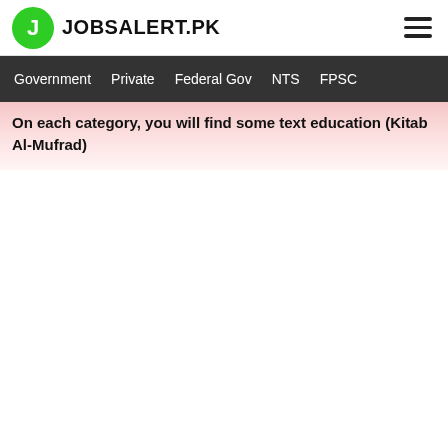JOBSALERT.PK
Government  Private  Federal Gov  NTS  FPSC
On each category, you will find some text education (Kitab Al-Mufrad)